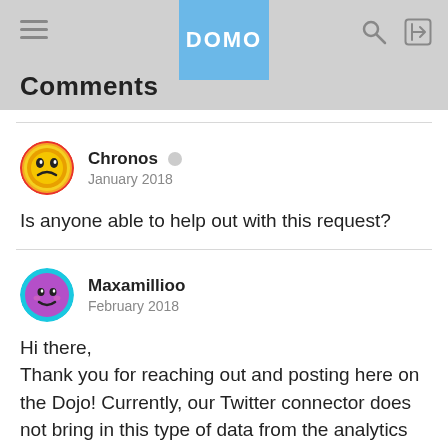Comments
Chronos
January 2018

Is anyone able to help out with this request?
Maxamillioo
February 2018

Hi there,

Thank you for reaching out and posting here on the Dojo! Currently, our Twitter connector does not bring in this type of data from the analytics UI. Twitter has a completely separate API for those